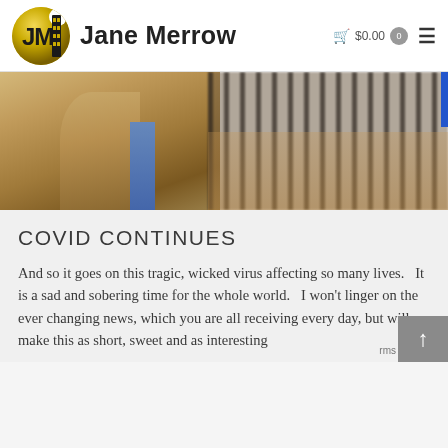Jane Merrow  $0.00  0
[Figure (photo): Partial view of a person wearing a tan/beige jacket, with blurred vertical lines in the background, likely a fence or wall]
COVID CONTINUES
And so it goes on this tragic, wicked virus affecting so many lives.   It is a sad and sobering time for the whole world.   I won't linger on the ever changing news, which you are all receiving every day, but will make this as short, sweet and as interesting as possible.   First, a word about...